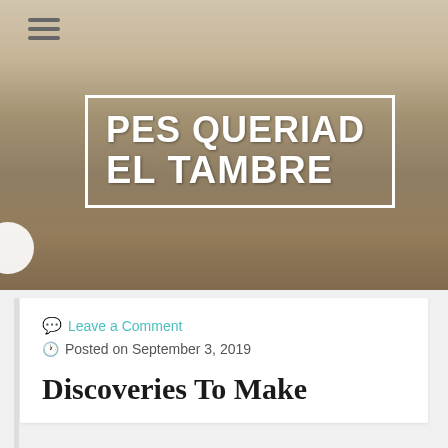[Figure (photo): Interior room photo showing a living room with floral arrangement, blue upholstered furniture, curtains, and a brass vase]
PES QUERIAD EL TAMBRE
💬 Leave a Comment
🕐 Posted on September 3, 2019
Discoveries To Make